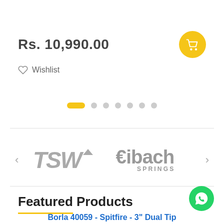Rs. 10,990.00
Wishlist
[Figure (other): Carousel pagination dots: one active yellow pill and six inactive grey circles]
[Figure (other): Brand logo carousel showing TSW and Eibach Springs logos with left/right navigation arrows]
Featured Products
Borla 40059 - Spitfire - 3" Dual Tip